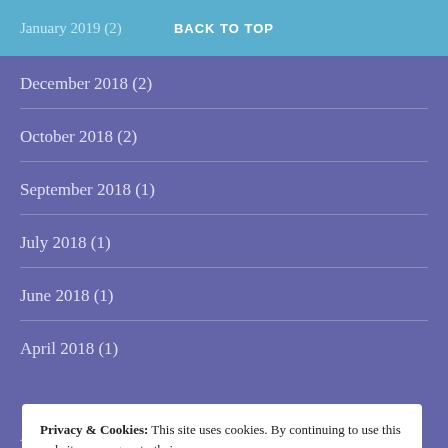January 2019 (2)  BACK TO TOP
December 2018 (2)
October 2018 (2)
September 2018 (1)
July 2018 (1)
June 2018 (1)
April 2018 (1)
Privacy & Cookies: This site uses cookies. By continuing to use this website, you agree to their use.
To find out more, including how to control cookies, see here: Cookie Policy
August 2017 (1)